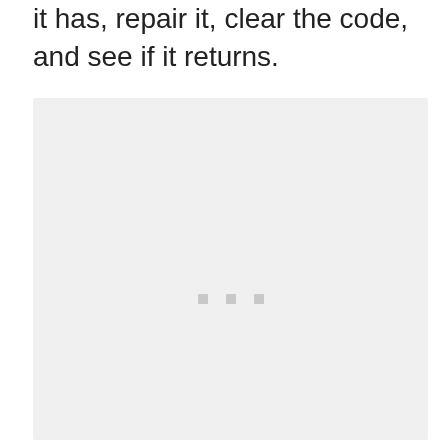been damaged by debris from the road. If it has, repair it, clear the code, and see if it returns.
[Figure (photo): Large light gray placeholder image box with three small gray square dots centered slightly below the middle of the box.]